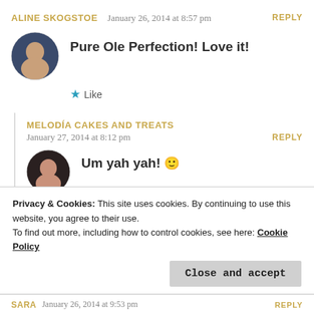ALINE SKOGSTOE — January 26, 2014 at 8:57 pm — REPLY
[Figure (photo): Circular avatar of Aline Skogstoe, a woman with dark hair]
Pure Ole Perfection! Love it!
★ Like
MELODÍA CAKES AND TREATS
January 27, 2014 at 8:12 pm — REPLY
[Figure (photo): Circular avatar of Melodía Cakes and Treats, a woman smiling]
Um yah yah! 🙂
Privacy & Cookies: This site uses cookies. By continuing to use this website, you agree to their use.
To find out more, including how to control cookies, see here: Cookie Policy
Close and accept
SARA  January 26, 2014 at 9:53 pm  REPLY